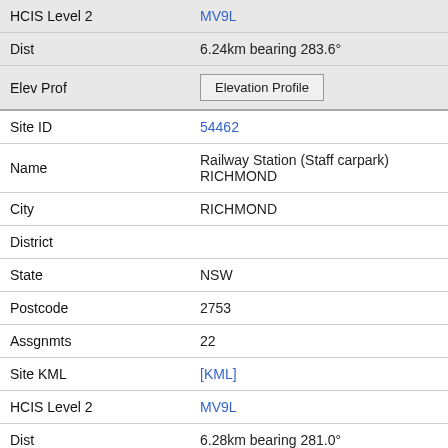| Field | Value |
| --- | --- |
| HCIS Level 2 | MV9L |
| Dist | 6.24km bearing 283.6° |
| Elev Prof | Elevation Profile |
| Site ID | 54462 |
| Name | Railway Station (Staff carpark) RICHMOND |
| City | RICHMOND |
| District |  |
| State | NSW |
| Postcode | 2753 |
| Assgnmts | 22 |
| Site KML | [KML] |
| HCIS Level 2 | MV9L |
| Dist | 6.28km bearing 281.0° |
| Elev Prof | Elevation Profile |
| Site ID | 140310 |
| Name | 6 East Market St RICHMOND |